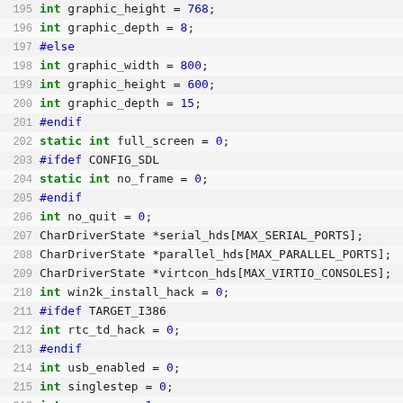Source code listing, lines 195-219, C language variable declarations with preprocessor directives